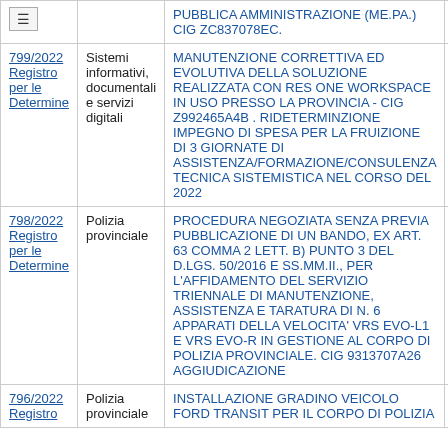| Numero | Settore | Oggetto | Data |
| --- | --- | --- | --- |
| (menu) PUBBLICA AMMINISTRAZIONE (ME.PA.) CIG ZC837078EC. |  |  |  |
| 799/2022 Registro per le Determine | Sistemi informativi, documentali e servizi digitali | MANUTENZIONE CORRETTIVA ED EVOLUTIVA DELLA SOLUZIONE REALIZZATA CON RES ONE WORKSPACE IN USO PRESSO LA PROVINCIA - CIG Z992465A4B . RIDETERMINZIONE IMPEGNO DI SPESA PER LA FRUIZIONE DI 3 GIORNATE DI ASSISTENZA/FORMAZIONE/CONSULENZA TECNICA SISTEMISTICA NEL CORSO DEL 2022 | 05/0 |
| 798/2022 Registro per le Determine | Polizia provinciale | PROCEDURA NEGOZIATA SENZA PREVIA PUBBLICAZIONE DI UN BANDO, EX ART. 63 COMMA 2 LETT. B) PUNTO 3 DEL D.LGS. 50/2016 E SS.MM.II., PER L'AFFIDAMENTO DEL SERVIZIO TRIENNALE DI MANUTENZIONE, ASSISTENZA E TARATURA DI N. 6 APPARATI DELLA VELOCITA' VRS EVO-L1 E VRS EVO-R IN GESTIONE AL CORPO DI POLIZIA PROVINCIALE. CIG 9313707A26 AGGIUDICAZIONE | 05/0 |
| 796/2022 Registro | Polizia provinciale | INSTALLAZIONE GRADINO VEICOLO FORD TRANSIT PER IL CORPO DI POLIZIA | 04/0 |